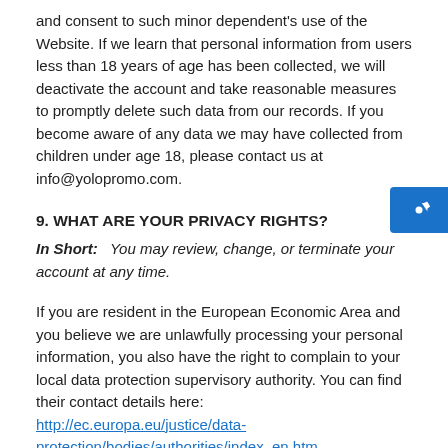and consent to such minor dependent's use of the Website. If we learn that personal information from users less than 18 years of age has been collected, we will deactivate the account and take reasonable measures to promptly delete such data from our records. If you become aware of any data we may have collected from children under age 18, please contact us at info@yolopromo.com.
9. WHAT ARE YOUR PRIVACY RIGHTS?
In Short:   You may review, change, or terminate your account at any time.
If you are resident in the European Economic Area and you believe we are unlawfully processing your personal information, you also have the right to complain to your local data protection supervisory authority. You can find their contact details here: http://ec.europa.eu/justice/data-protection/bodies/authorities/index_en.htm.
If you are resident in Switzerland, the contact details for the data protection authorities are available here: https://www.edoeb.admin.ch/edoeb/en/home.html.